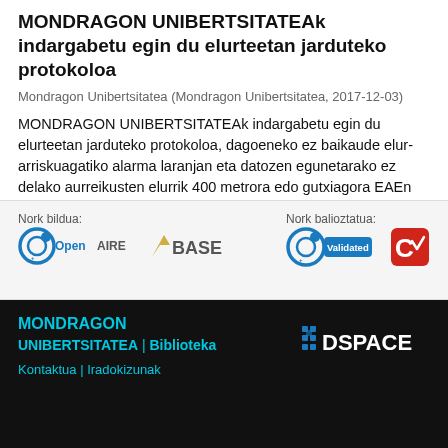MONDRAGON UNIBERTSITATEAk indargabetu egin du elurteetan jarduteko protokoloa
Mondragon Unibertsitatea (Mondragon Unibertsitatea, 2017-12-03)
MONDRAGON UNIBERTSITATEAk indargabetu egin du elurteetan jarduteko protokoloa, dagoeneko ez baikaude elur-arriskuagatiko alarma laranjan eta datozen egunetarako ez delako aurreikusten elurrik 400 metrora edo gutxiagora EAEn
Gehiago
Nork bildua:
[Figure (logo): OpenAIRE logo]
[Figure (logo): BASE logo]
Nork balioztatua:
[Figure (logo): OpenAIRE Validated logo]
[Figure (logo): Certification logo (red C with checkmark)]
MONDRAGON UNIBERTSITATEA | Biblioteka
Kontaktua | Iradokizunak
DSPACE